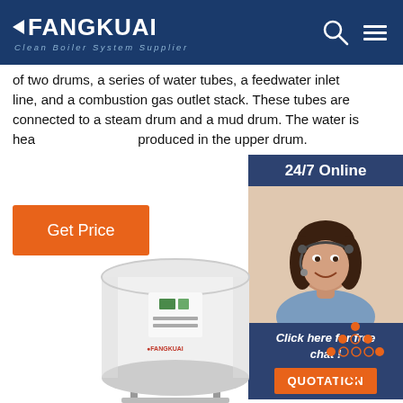FANGKUAI Clean Boiler System Supplier
of two drums, a series of water tubes, a feedwater inlet line, and a combustion gas outlet stack. These tubes are connected to a steam drum and a mud drum. The water is heated and steam is produced in the upper drum.
Get Price
[Figure (photo): Customer service representative with headset, 24/7 Online support panel with Click here for free chat and QUOTATION button]
[Figure (photo): Fangkuai branded white cylindrical boiler unit on stand]
[Figure (illustration): TOP button with orange dots forming upward arrow]